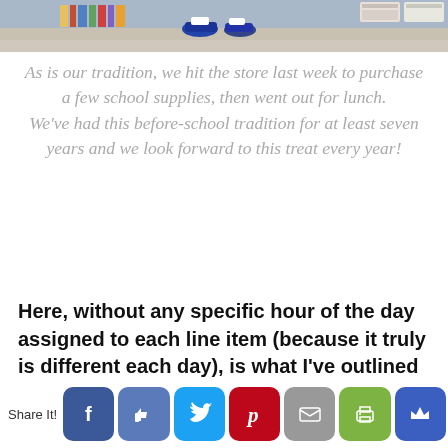[Figure (photo): Top portion of a classroom or store photo showing shelves, feet/shoes of students, and storage bins at the top of the page]
As is our tradition, we hit the store last week to purchase a few school supplies, then went out for lunch.
We've had this before-school tradition for at least seven years and we look forward to this treat every year!
Here, without any specific hour of the day assigned to each line item (because it truly is different each day), is what I've outlined for our routine this year.
(Read the specifics about the curriculum we'll be using here.)